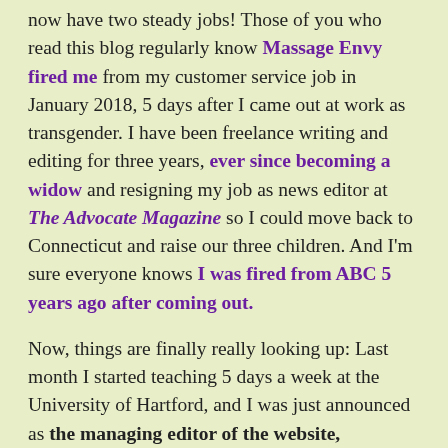now have two steady jobs! Those of you who read this blog regularly know Massage Envy fired me from my customer service job in January 2018, 5 days after I came out at work as transgender. I have been freelance writing and editing for three years, ever since becoming a widow and resigning my job as news editor at The Advocate Magazine so I could move back to Connecticut and raise our three children. And I'm sure everyone knows I was fired from ABC 5 years ago after coming out.

Now, things are finally really looking up: Last month I started teaching 5 days a week at the University of Hartford, and I was just announced as the managing editor of the website, Outsports. I'm very excited to finally share some